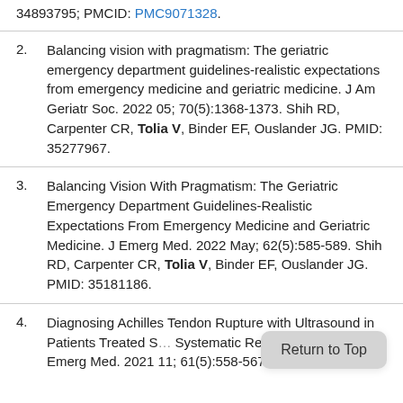34893795; PMCID: PMC9071328.
2. Balancing vision with pragmatism: The geriatric emergency department guidelines-realistic expectations from emergency medicine and geriatric medicine. J Am Geriatr Soc. 2022 05; 70(5):1368-1373. Shih RD, Carpenter CR, Tolia V, Binder EF, Ouslander JG. PMID: 35277967.
3. Balancing Vision With Pragmatism: The Geriatric Emergency Department Guidelines-Realistic Expectations From Emergency Medicine and Geriatric Medicine. J Emerg Med. 2022 May; 62(5):585-589. Shih RD, Carpenter CR, Tolia V, Binder EF, Ouslander JG. PMID: 35181186.
4. Diagnosing Achilles Tendon Rupture with Ultrasound in Patients Treated S... Systematic Review and Meta-An... Emerg Med. 2021 11; 61(5):558-567. Aminlari